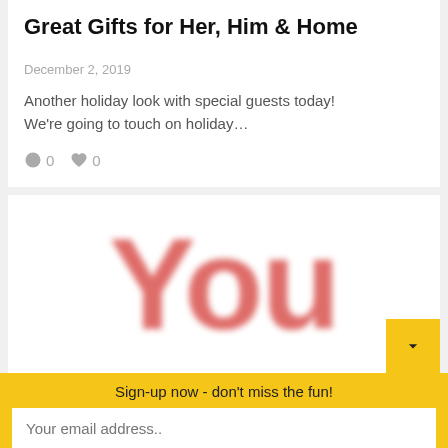Great Gifts for Her, Him & Home
December 2, 2019
Another holiday look with special guests today! We're going to touch on holiday…
0  0
[Figure (logo): Blurred red 'You' text on white background, resembling a YouTube-style logo]
Sign-up now - don't miss the fun!
Your email address..
Subscribe